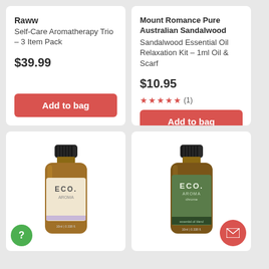Raww
Self-Care Aromatherapy Trio – 3 Item Pack
$39.99
Add to bag
Mount Romance Pure Australian Sandalwood
Sandalwood Essential Oil Relaxation Kit – 1ml Oil & Scarf
$10.95
★★★★★ (1)
Add to bag
[Figure (photo): ECO brand essential oil bottle with beige/cream label]
[Figure (photo): ECO.AROMA brand essential oil bottle with green label]